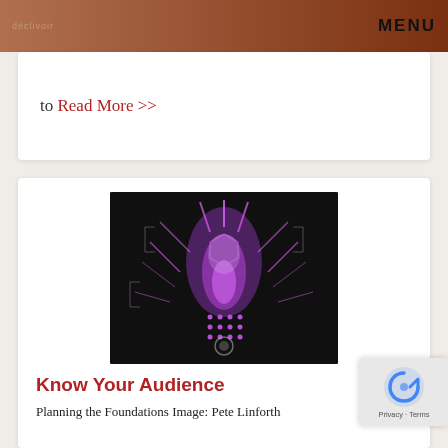MENU
to Read More >>
[Figure (illustration): Dark background digital/technology illustration with purple glowing circuit board and human brain imagery, scientific and futuristic themed]
Know Your Audience
Planning the Foundations Image: Pete Linforth